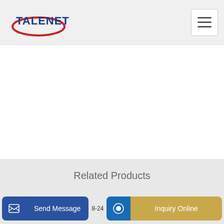TALENET
[Figure (screenshot): White content area (product image area, blank/scrolled)]
Related Products
mobile concrete mixer truck mobile concrete mixer truck
using a concrete pump set up clean up
Send Message | 8-24 | Inquiry Online